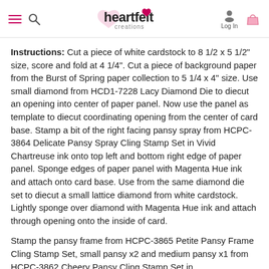heartfelt creations — Log In
Instructions: Cut a piece of white cardstock to 8 1/2 x 5 1/2" size, score and fold at 4 1/4". Cut a piece of background paper from the Burst of Spring paper collection to 5 1/4 x 4" size. Use small diamond from HCD1-7228 Lacy Diamond Die to diecut an opening into center of paper panel. Now use the panel as template to diecut coordinating opening from the center of card base. Stamp a bit of the right facing pansy spray from HCPC-3864 Delicate Pansy Spray Cling Stamp Set in Vivid Chartreuse ink onto top left and bottom right edge of paper panel. Sponge edges of paper panel with Magenta Hue ink and attach onto card base. Use from the same diamond die set to diecut a small lattice diamond from white cardstock. Lightly sponge over diamond with Magenta Hue ink and attach through opening onto the inside of card.
Stamp the pansy frame from HCPC-3865 Petite Pansy Frame Cling Stamp Set, small pansy x2 and medium pansy x1 from HCPC-3862 Cheery Pansy Cling Stamp Set in